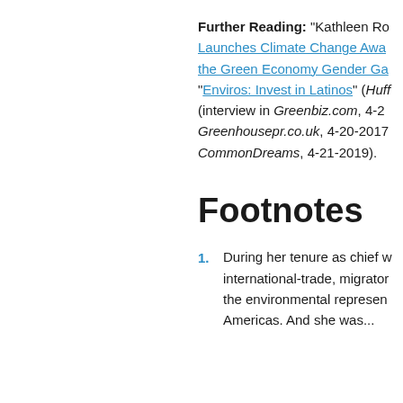Further Reading: “Kathleen Rogers Launches Climate Change Awa... the Green Economy Gender Ga...” “Enviros: Invest in Latinos” (Huff... (interview in Greenbiz.com, 4-2... Greenhousepr.co.uk, 4-20-2017... CommonDreams, 4-21-2019).
Footnotes
During her tenure as chief w... international-trade, migrator... the environmental represen... Americas. And she was...